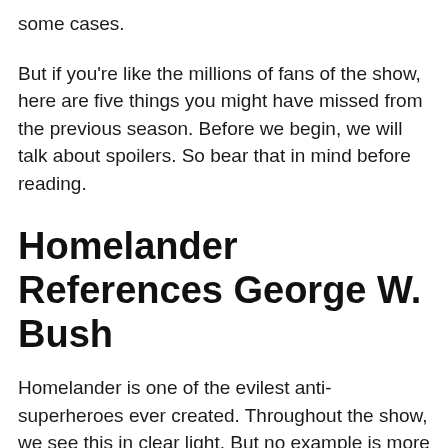some cases.
But if you're like the millions of fans of the show, here are five things you might have missed from the previous season. Before we begin, we will talk about spoilers. So bear that in mind before reading.
Homelander References George W. Bush
Homelander is one of the evilest anti-superheroes ever created. Throughout the show, we see this in clear light. But no example is more evident than in the scene where Homelander and Queen Maeve fail to save the airplane highjacked by terrorists.